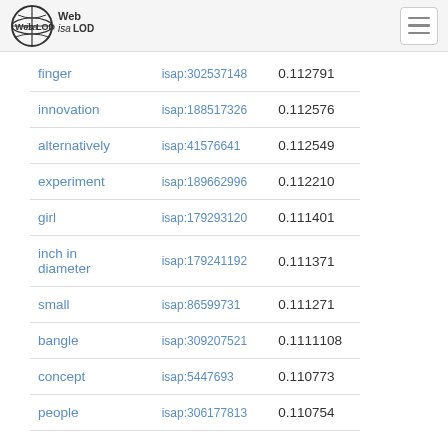Web isa LOD [hamburger menu]
| finger | isap:302537148 | 0.112791 |
| innovation | isap:188517326 | 0.112576 |
| alternatively | isap:41576641 | 0.112549 |
| experiment | isap:189662996 | 0.112210 |
| girl | isap:179293120 | 0.111401 |
| inch in diameter | isap:179241192 | 0.111371 |
| small | isap:86599731 | 0.111271 |
| bangle | isap:309207521 | 0.1111108 |
| concept | isap:5447693 | 0.110773 |
| people | isap:306177813 | 0.110754 |